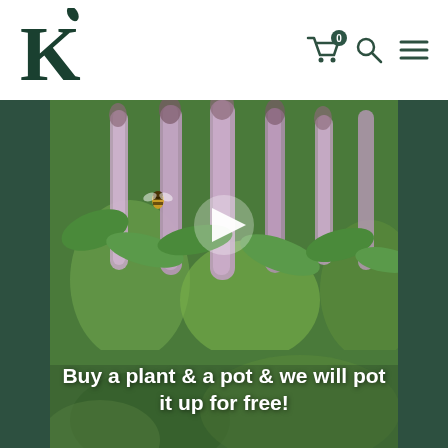[Figure (logo): Green K letter logo with a small leaf on top, for a plant/garden nursery brand]
[Figure (screenshot): Website header navigation icons: shopping cart with 0 badge, search magnifying glass, and hamburger menu]
[Figure (photo): Photo of purple/lavender flowering plant spikes (likely Agastache) with a bee visible, with a white play button overlay indicating a video]
Buy a plant & a pot & we will pot it up for free!